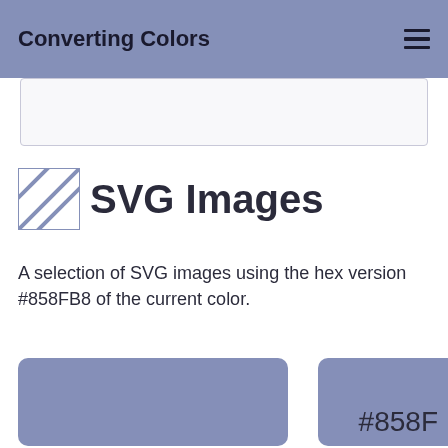Converting Colors
[Figure (other): Search input box, white/light gray background with border]
SVG Images
A selection of SVG images using the hex version #858FB8 of the current color.
[Figure (other): Solid color rectangle filled with #858FB8, rounded corners]
[Figure (other): Solid color rectangle filled with #858FB8 with label #858F, partially cropped]